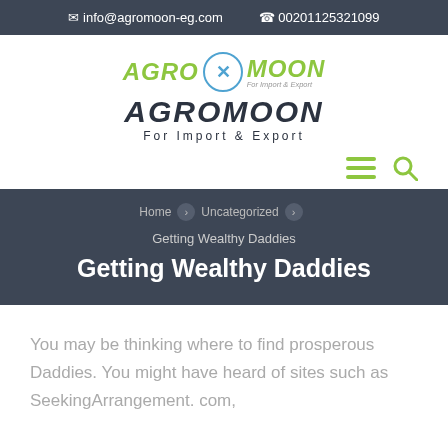✉ info@agromoon-eg.com  📞 00201125321099
[Figure (logo): Agromoon for Import & Export logo with green and dark text, circular emblem]
Home > Uncategorized > Getting Wealthy Daddies
Getting Wealthy Daddies
You may be thinking where to find prosperous Daddies. You might have heard of sites such as SeekingArrangement. com,